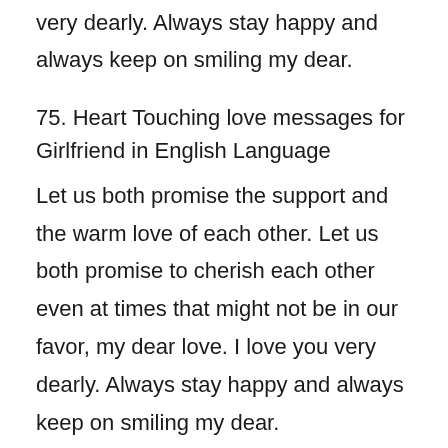very dearly. Always stay happy and always keep on smiling my dear.
75. Heart Touching love messages for Girlfriend in English Language
Let us both promise the support and the warm love of each other. Let us both promise to cherish each other even at times that might not be in our favor, my dear love. I love you very dearly. Always stay happy and always keep on smiling my dear.
76. Heart Touching love messages for